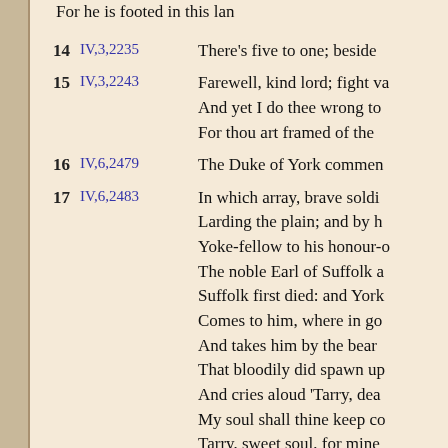For he is footed in this lan
14  IV,3,2235  There's five to one; beside
15  IV,3,2243  Farewell, kind lord; fight va
And yet I do thee wrong to
For thou art framed of the
16  IV,6,2479  The Duke of York commen
17  IV,6,2483  In which array, brave soldi
Larding the plain; and by h
Yoke-fellow to his honour-o
The noble Earl of Suffolk a
Suffolk first died: and York
Comes to him, where in go
And takes him by the bear
That bloodily did spawn up
And cries aloud 'Tarry, dea
My soul shall thine keep co
Tarry, sweet soul, for mine
As in this glorious and wel
We kept together in our ch
Upon these words I came